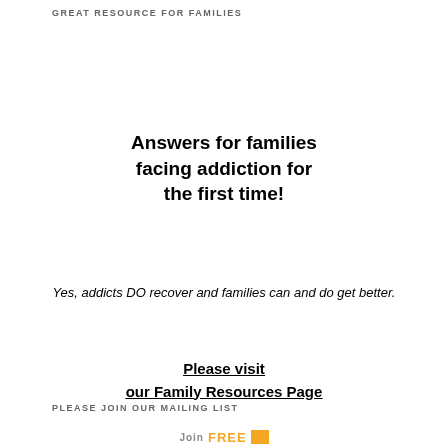GREAT RESOURCE FOR FAMILIES
Answers for families facing addiction for the first time!
Yes, addicts DO recover and families can and do get better.
Please visit our Family Resources Page
PLEASE JOIN OUR MAILING LIST